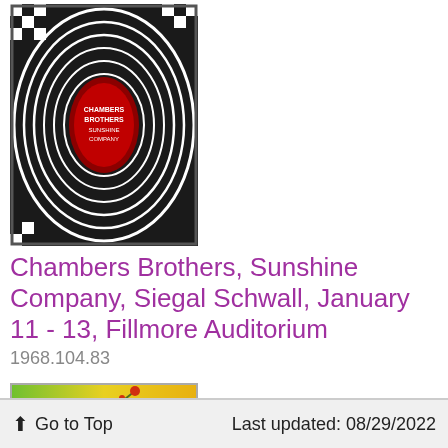[Figure (illustration): Concert poster with black and white hypnotic swirl/checkerboard pattern and a red oval in the center with text]
Chambers Brothers, Sunshine Company, Siegal Schwall, January 11 - 13, Fillmore Auditorium
1968.104.83
[Figure (illustration): Concert poster with yellow-green gradient background featuring a figure in a red robe holding flowers]
Butterfield Blues Band, Charles Lloyd Quartet,
Go to Top    Last updated: 08/29/2022